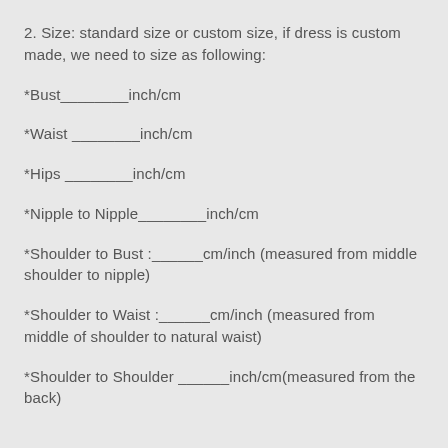2. Size: standard size or custom size, if dress is custom made, we need to size as following:
*Bust________inch/cm
*Waist ________inch/cm
*Hips ________inch/cm
*Nipple to Nipple________inch/cm
*Shoulder to Bust :______cm/inch (measured from middle shoulder to nipple)
*Shoulder to Waist :______cm/inch (measured from middle of shoulder to natural waist)
*Shoulder to Shoulder ______inch/cm(measured from the back)